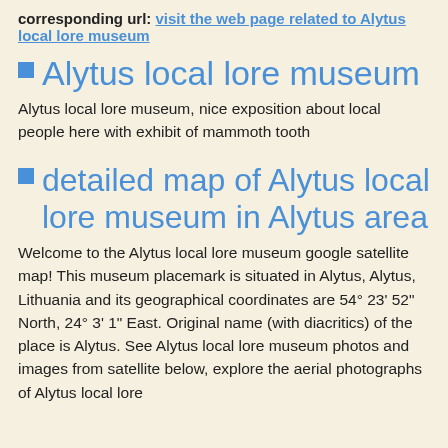corresponding url: visit the web page related to Alytus local lore museum
Alytus local lore museum
Alytus local lore museum, nice exposition about local people here with exhibit of mammoth tooth
detailed map of Alytus local lore museum in Alytus area
Welcome to the Alytus local lore museum google satellite map! This museum placemark is situated in Alytus, Alytus, Lithuania and its geographical coordinates are 54° 23' 52" North, 24° 3' 1" East. Original name (with diacritics) of the place is Alytus. See Alytus local lore museum photos and images from satellite below, explore the aerial photographs of Alytus local lore